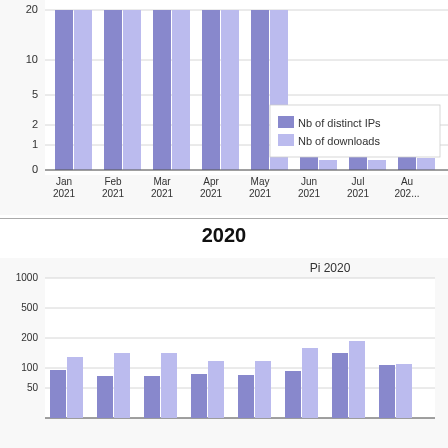[Figure (grouped-bar-chart): Pi 2021 (partial, top crop)]
2020
[Figure (grouped-bar-chart): Pi 2020]